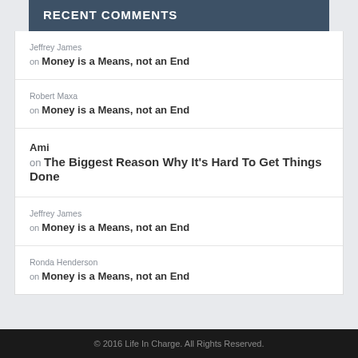RECENT COMMENTS
Jeffrey James on Money is a Means, not an End
Robert Maxa on Money is a Means, not an End
Ami on The Biggest Reason Why It's Hard To Get Things Done
Jeffrey James on Money is a Means, not an End
Ronda Henderson on Money is a Means, not an End
© 2016 Life In Charge. All Rights Reserved.